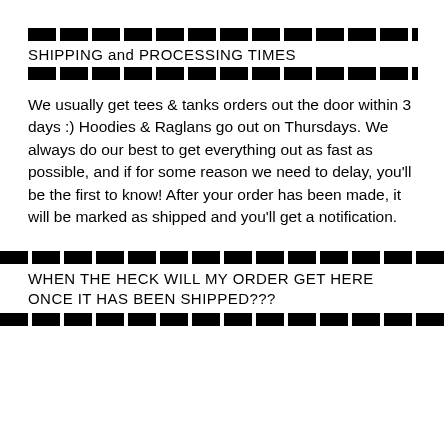SHIPPING and PROCESSING TIMES
We usually get tees & tanks orders out the door within 3 days :) Hoodies & Raglans go out on Thursdays. We always do our best to get everything out as fast as possible, and if for some reason we need to delay, you'll be the first to know! After your order has been made, it will be marked as shipped and you'll get a notification.
WHEN THE HECK WILL MY ORDER GET HERE ONCE IT HAS BEEN SHIPPED???